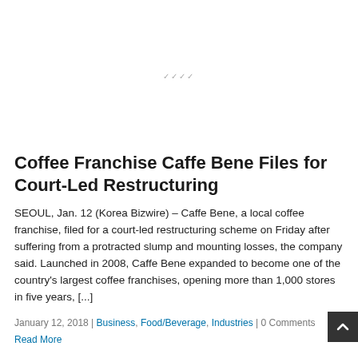[Figure (illustration): Placeholder image area at the top of the page with a small centered icon/logo watermark]
Coffee Franchise Caffe Bene Files for Court-Led Restructuring
SEOUL, Jan. 12 (Korea Bizwire) – Caffe Bene, a local coffee franchise, filed for a court-led restructuring scheme on Friday after suffering from a protracted slump and mounting losses, the company said. Launched in 2008, Caffe Bene expanded to become one of the country's largest coffee franchises, opening more than 1,000 stores in five years, [...]
January 12, 2018 | Business, Food/Beverage, Industries | 0 Comments
Read More